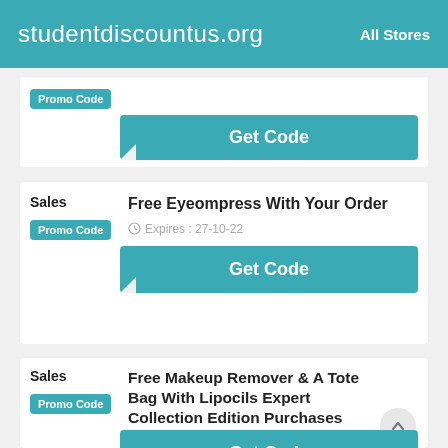studentdiscountus.org   All Stores
Promo Code
Get Code
Sales
Free Eyeompress With Your Order
Expires : 27-10-22
Promo Code
Get Code
Sales
Free Makeup Remover & A Tote Bag With Lipocils Expert Collection Edition Purchases
Expires : 26-11-22
Promo Code
Get Code